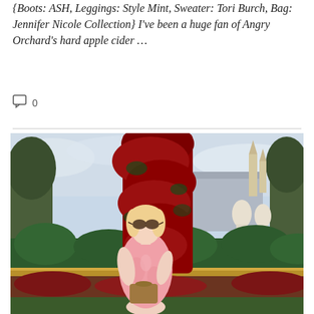{Boots: ASH, Leggings: Style Mint, Sweater: Tori Burch, Bag: Jennifer Nicole Collection} I've been a huge fan of Angry Orchard's hard apple cider …
0
[Figure (photo): A blonde woman wearing a pink floral dress and sunglasses, standing in front of a tall column of red poinsettias in a park or garden setting, likely Disney World. She is holding a brown handbag. Green hedges and decorative elements are visible in the background.]